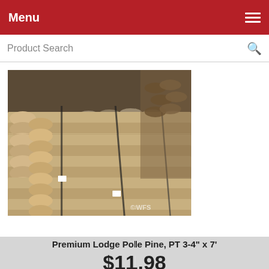Menu
Product Search
[Figure (photo): Stacked bundles of Premium Lodge Pole Pine logs/poles, light tan/beige colored, bundled with straps, stored in a yard with more logs visible in background. Watermark 'WFS' visible.]
Premium Lodge Pole Pine, PT 3-4" x 7'
$11.98
Be the first to review this product